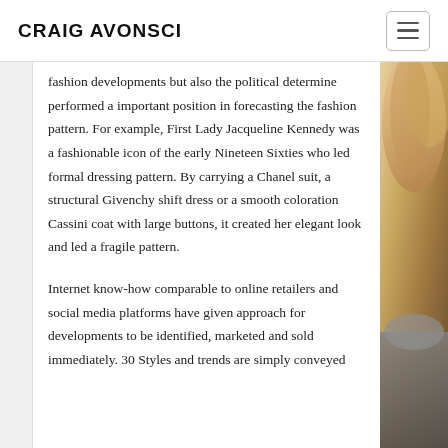CRAIG AVONSCI
fashion developments but also the political determine performed a important position in forecasting the fashion pattern. For example, First Lady Jacqueline Kennedy was a fashionable icon of the early Nineteen Sixties who led formal dressing pattern. By carrying a Chanel suit, a structural Givenchy shift dress or a smooth coloration Cassini coat with large buttons, it created her elegant look and led a fragile pattern.
Internet know-how comparable to online retailers and social media platforms have given approach for developments to be identified, marketed and sold immediately. 30 Styles and trends are simply conveyed